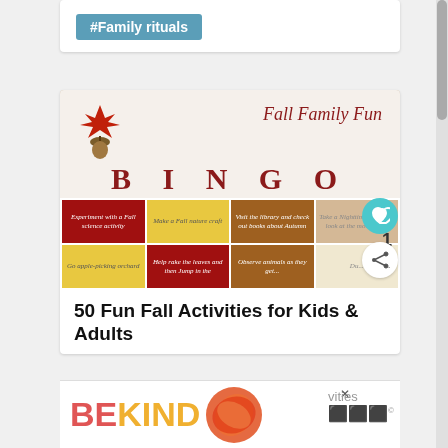#Family rituals
[Figure (photo): Fall Family Fun BINGO card with colorful grid showing fall activities like 'Experiment with a Fall science activity', 'Make a Fall nature craft', 'Visit the library and check out books about Autumn', 'Take a Nighttime walk and look at the moon/stars', 'Go apple-picking orchard', 'Help rake the leaves and then Jump in the', 'Observe animals as they get...']
50 Fun Fall Activities for Kids & Adults
[Figure (other): WHAT'S NEXT → Renee @ Mother... profile widget]
[Figure (other): BE KIND advertisement banner with decorative floral imagery and 'vities' text]